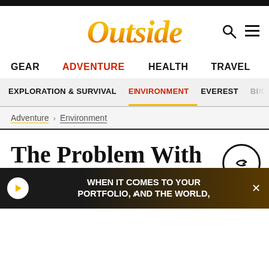Outside
GEAR  ADVENTURE  HEALTH  TRAVEL
EXPLORATION & SURVIVAL  ENVIRONMENT  EVEREST  BI...
Adventure > Environment
The Problem With Live-Streaming the M...
[Figure (other): Advertisement banner: WHEN IT COMES TO YOUR PORTFOLIO, AND THE WORLD,]